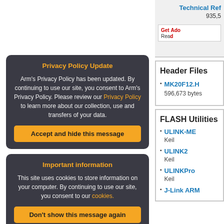Technical Re
935,5
[Figure (screenshot): Get Adobe Reader button]
Header Files
MK20F12.H
596,673 bytes
FLASH Utilities
ULINK-ME
Keil
ULINK2
Keil
ULINKPro
Keil
J-Link ARM
Privacy Policy Update
Arm's Privacy Policy has been updated. By continuing to use our site, you consent to Arm's Privacy Policy. Please review our Privacy Policy to learn more about our collection, use and transfers of your data.
Accept and hide this message
Important information
This site uses cookies to store information on your computer. By continuing to use our site, you consent to our cookies.
Don't show this message again
Change Settings